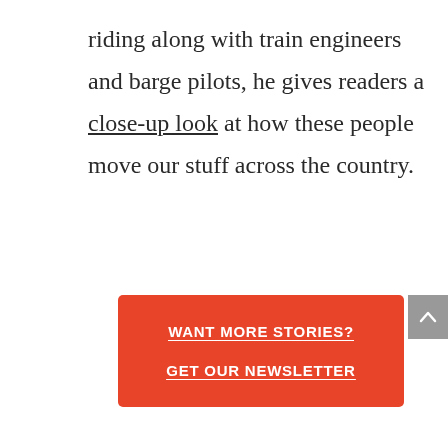riding along with train engineers and barge pilots, he gives readers a close-up look at how these people move our stuff across the country.
WANT MORE STORIES? GET OUR NEWSLETTER